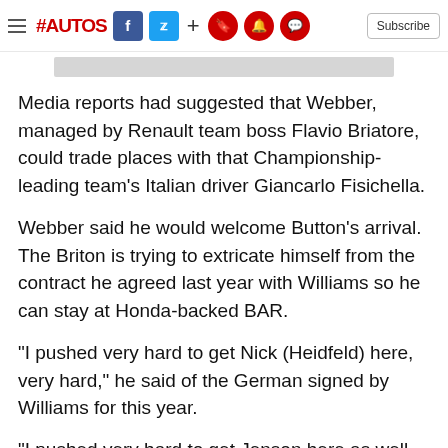#AUTOS  f  [twitter]  +  [bookmark] [bell] [comment]  Subscribe
Media reports had suggested that Webber, managed by Renault team boss Flavio Briatore, could trade places with that Championship-leading team's Italian driver Giancarlo Fisichella.
Webber said he would welcome Button's arrival. The Briton is trying to extricate himself from the contract he agreed last year with Williams so he can stay at Honda-backed BAR.
"I pushed very hard to get Nick (Heidfeld) here, very hard," he said of the German signed by Williams for this year.
"I pushed very hard to get Jenson here as well. It's the best for the team to have two strong guys, it's